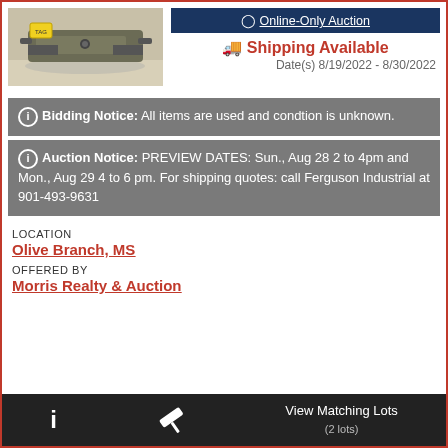[Figure (photo): Photo of a used industrial/mechanical equipment item (appears to be a vise or clamp) on a surface, with a yellow price tag attached]
Online-Only Auction
Shipping Available
Date(s) 8/19/2022 - 8/30/2022
Bidding Notice: All items are used and condtion is unknown.
Auction Notice: PREVIEW DATES: Sun., Aug 28 2 to 4pm and Mon., Aug 29 4 to 6 pm. For shipping quotes: call Ferguson Industrial at 901-493-9631
LOCATION
Olive Branch, MS
OFFERED BY
Morris Realty & Auction
View Matching Lots (2 lots)